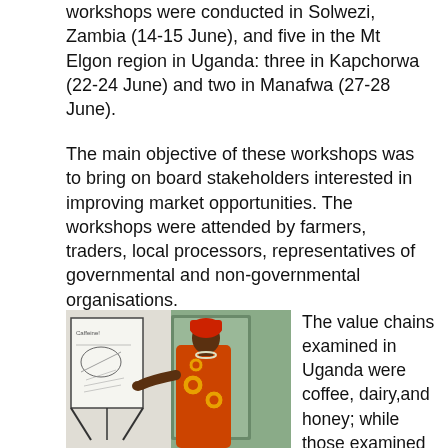workshops were conducted in Solwezi, Zambia (14-15 June), and five in the Mt Elgon region in Uganda: three in Kapchorwa (22-24 June) and two in Manafwa (27-28 June).
The main objective of these workshops was to bring on board stakeholders interested in improving market opportunities. The workshops were attended by farmers, traders, local processors, representatives of governmental and non-governmental organisations.
[Figure (photo): A woman in a bright orange patterned dress and headwrap presenting at a whiteboard/flipchart during a workshop.]
The value chains examined in Uganda were coffee, dairy,and honey; while those examined in Zambia were Solwezi beans, soya beans and